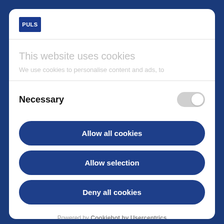[Figure (logo): PULS logo - white text on dark blue square background]
This website uses cookies
We use cookies to personalise content and ads, to
Necessary
Allow all cookies
Allow selection
Deny all cookies
Powered by Cookiebot by Usercentrics